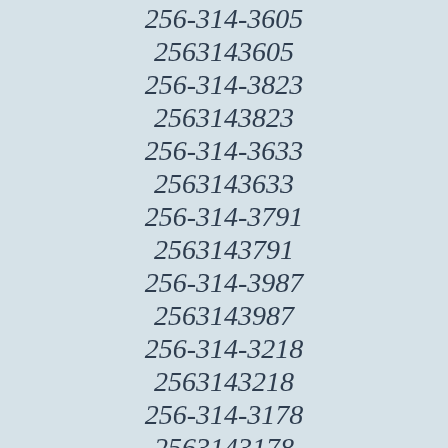256-314-3605
2563143605
256-314-3823
2563143823
256-314-3633
2563143633
256-314-3791
2563143791
256-314-3987
2563143987
256-314-3218
2563143218
256-314-3178
2563143178
256-314-3214
2563143214